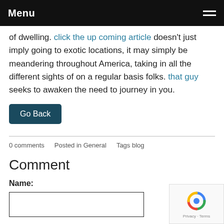Menu
of dwelling. click the up coming article doesn't just imply going to exotic locations, it may simply be meandering throughout America, taking in all the different sights of on a regular basis folks. that guy seeks to awaken the need to journey in you.
Go Back
0 comments   Posted in General   Tags blog
Comment
Name: